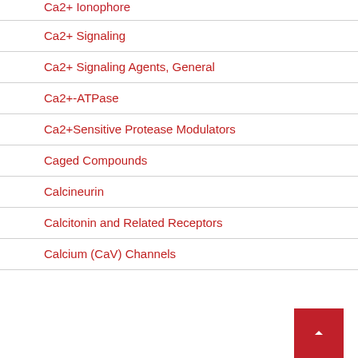Ca2+ Ionophore
Ca2+ Signaling
Ca2+ Signaling Agents, General
Ca2+-ATPase
Ca2+Sensitive Protease Modulators
Caged Compounds
Calcineurin
Calcitonin and Related Receptors
Calcium (CaV) Channels